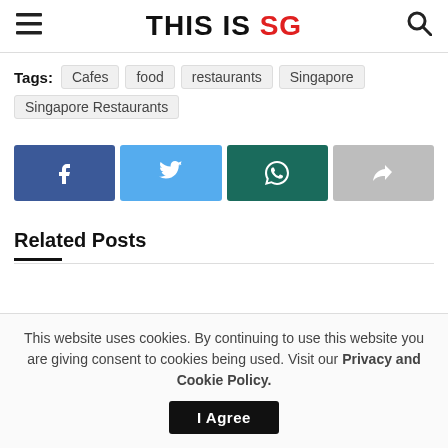THIS IS SG
Tags: Cafes  food  restaurants  Singapore  Singapore Restaurants
[Figure (infographic): Four social share buttons: Facebook (dark blue), Twitter (light blue), WhatsApp (teal/dark green), Share/Forward (grey)]
Related Posts
This website uses cookies. By continuing to use this website you are giving consent to cookies being used. Visit our Privacy and Cookie Policy.